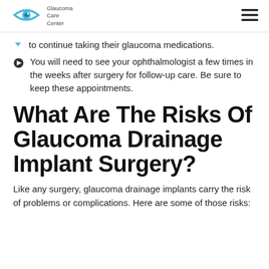Glaucoma Care Center
to continue taking their glaucoma medications.
You will need to see your ophthalmologist a few times in the weeks after surgery for follow-up care. Be sure to keep these appointments.
What Are The Risks Of Glaucoma Drainage Implant Surgery?
Like any surgery, glaucoma drainage implants carry the risk of problems or complications. Here are some of those risks: